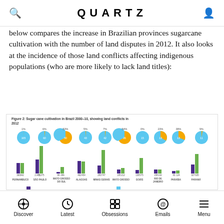QUARTZ
below compares the increase in Brazilian provinces sugarcane cultivation with the number of land disputes in 2012. It also looks at the incidence of those land conflicts affecting indigenous populations (who are more likely to lack land titles):
[Figure (grouped-bar-chart): Figure 2: Sugar cane cultivation in Brazil 2000–10, showing land conflicts in 2012]
Discover | Latest | Obsessions | Emails | Menu